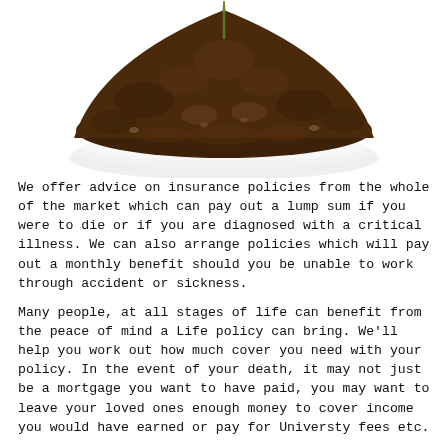[Figure (photo): A pile of dark brown soil/dirt on a white plate or dish, with a small plant seedling sprouting from the top center of the mound, against a white background.]
We offer advice on insurance policies from the whole of the market which can pay out a lump sum if you were to die or if you are diagnosed with a critical illness. We can also arrange policies which will pay out a monthly benefit should you be unable to work through accident or sickness.
Many people, at all stages of life can benefit from the peace of mind a Life policy can bring. We'll help you work out how much cover you need with your policy. In the event of your death, it may not just be a mortgage you want to have paid, you may want to leave your loved ones enough money to cover income you would have earned or pay for Universty fees etc.
Life policies have a few extra features which can be beneficial for you. It's important you take advice when arranging a policy of this type so we can ensure you will have the...